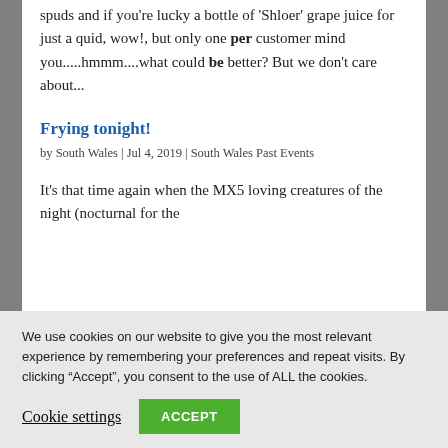spuds and if you're lucky a bottle of 'Shloer' grape juice for just a quid, wow!, but only one per customer mind you.....hmmm....what could be better? But we don't care about...
Frying tonight!
by South Wales | Jul 4, 2019 | South Wales Past Events
It's that time again when the MX5 loving creatures of the night (nocturnal for the
We use cookies on our website to give you the most relevant experience by remembering your preferences and repeat visits. By clicking “Accept”, you consent to the use of ALL the cookies.
Cookie settings
ACCEPT